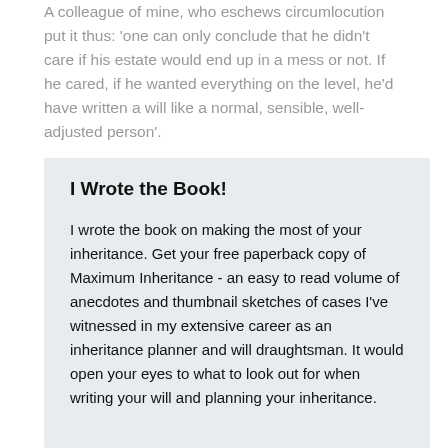A colleague of mine, who eschews circumlocution put it thus: 'one can only conclude that he didn't care if his estate would end up in a mess or not. If he cared, if he wanted everything on the level, he'd have written a will like a normal, sensible, well-adjusted person'.
I Wrote the Book!
I wrote the book on making the most of your inheritance. Get your free paperback copy of Maximum Inheritance - an easy to read volume of anecdotes and thumbnail sketches of cases I've witnessed in my extensive career as an inheritance planner and will draughtsman. It would open your eyes to what to look out for when writing your will and planning your inheritance.